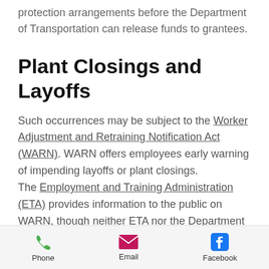protection arrangements before the Department of Transportation can release funds to grantees.
Plant Closings and Layoffs
Such occurrences may be subject to the Worker Adjustment and Retraining Notification Act (WARN). WARN offers employees early warning of impending layoffs or plant closings. The Employment and Training Administration (ETA) provides information to the public on WARN, though neither ETA nor the Department of Labor has administrative
Phone | Email | Facebook